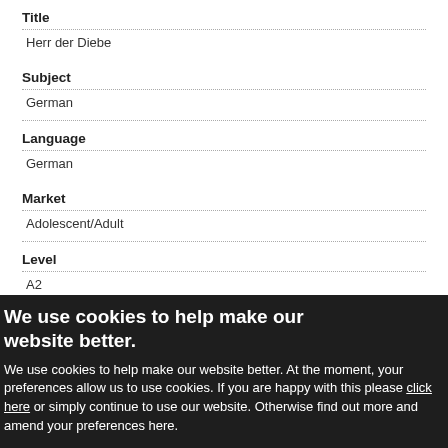Title
Herr der Diebe
Subject
German
Language
German
Market
Adolescent/Adult
Level
A2
We use cookies to help make our website better.
We use cookies to help make our website better. At the moment, your preferences allow us to use cookies. If you are happy with this please click here or simply continue to use our website. Otherwise find out more and amend your preferences here.